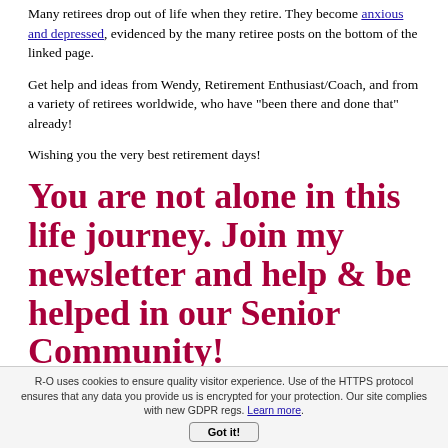Many retirees drop out of life when they retire. They become anxious and depressed, evidenced by the many retiree posts on the bottom of the linked page.
Get help and ideas from Wendy, Retirement Enthusiast/Coach, and from a variety of retirees worldwide, who have "been there and done that" already!
Wishing you the very best retirement days!
You are not alone in this life journey. Join my newsletter and help & be helped in our Senior Community!
R-O uses cookies to ensure quality visitor experience. Use of the HTTPS protocol ensures that any data you provide us is encrypted for your protection. Our site complies with new GDPR regs. Learn more.